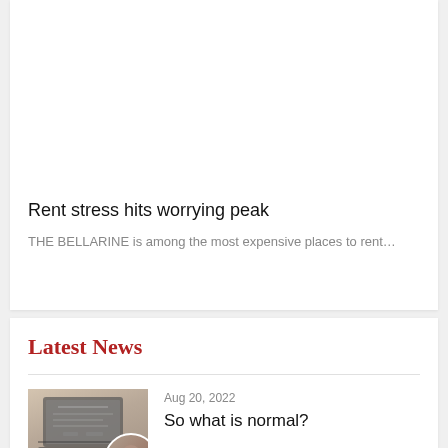Rent stress hits worrying peak
THE BELLARINE is among the most expensive places to rent…
Latest News
Aug 20, 2022
So what is normal?
[Figure (photo): Person using laptop, viewed from above, with a circular portrait inset]